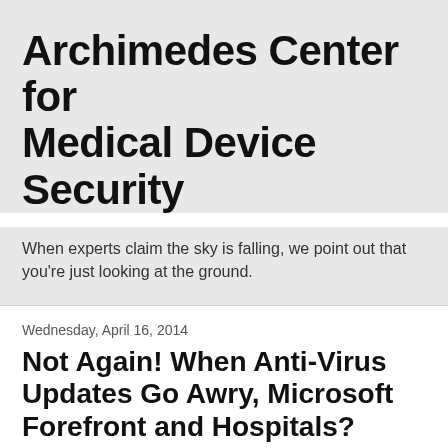Archimedes Center for Medical Device Security
When experts claim the sky is falling, we point out that you're just looking at the ground.
Wednesday, April 16, 2014
Not Again! When Anti-Virus Updates Go Awry, Microsoft Forefront and Hospitals?
Long-time readers will remember incidents such as the 2010 event when hospitals were stuck in an